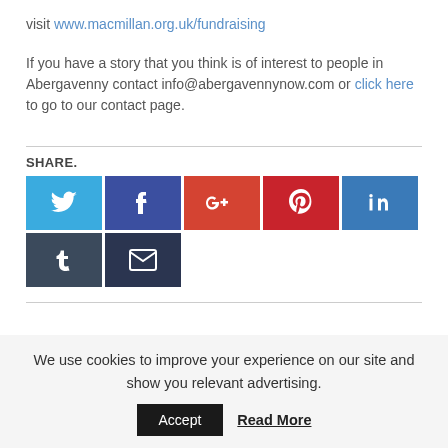visit www.macmillan.org.uk/fundraising
If you have a story that you think is of interest to people in Abergavenny contact info@abergavennynow.com or click here to go to our contact page.
SHARE.
[Figure (other): Social share buttons: Twitter, Facebook, Google+, Pinterest, LinkedIn, Tumblr, Email]
We use cookies to improve your experience on our site and show you relevant advertising. Accept  Read More